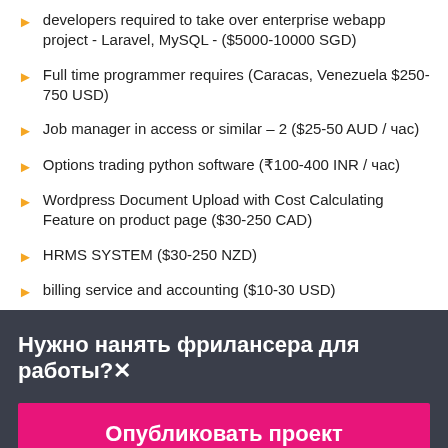developers required to take over enterprise webapp project - Laravel, MySQL - ($5000-10000 SGD)
Full time programmer requires (Caracas, Venezuela $250-750 USD)
Job manager in access or similar – 2 ($25-50 AUD / час)
Options trading python software (₹100-400 INR / час)
Wordpress Document Upload with Cost Calculating Feature on product page ($30-250 CAD)
HRMS SYSTEM ($30-250 NZD)
billing service and accounting ($10-30 USD)
Нужно нанять фрилансера для работы?✕
Опубликовать проект